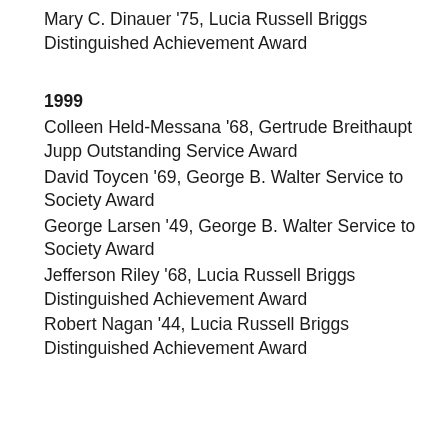Mary C. Dinauer '75, Lucia Russell Briggs Distinguished Achievement Award
1999
Colleen Held-Messana '68, Gertrude Breithaupt Jupp Outstanding Service Award
David Toycen '69, George B. Walter Service to Society Award
George Larsen '49, George B. Walter Service to Society Award
Jefferson Riley '68, Lucia Russell Briggs Distinguished Achievement Award
Robert Nagan '44, Lucia Russell Briggs Distinguished Achievement Award